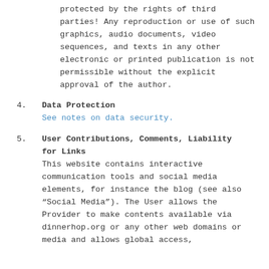protected by the rights of third parties! Any reproduction or use of such graphics, audio documents, video sequences, and texts in any other electronic or printed publication is not permissible without the explicit approval of the author.
4. Data Protection
See notes on data security.
5. User Contributions, Comments, Liability for Links
This website contains interactive communication tools and social media elements, for instance the blog (see also “Social Media”). The User allows the Provider to make contents available via dinnerhop.org or any other web domains or media and allows global access,